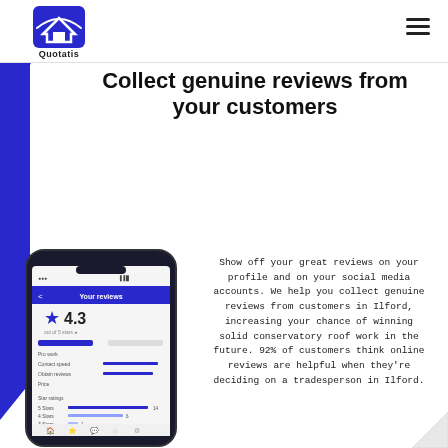[Figure (logo): Quotatis logo — white house icon in blue square with 'Quotatis' text below]
Collect genuine reviews from your customers
[Figure (screenshot): Smartphone showing Quotatis app with 'Your reviews' screen, star rating 4.3, and review breakdown bars]
Show off your great reviews on your profile and on your social media accounts. We help you collect genuine reviews from customers in Ilford, increasing your chance of winning solid conservatory roof work in the future. 92% of customers think online reviews are helpful when they're deciding on a tradesperson in Ilford.